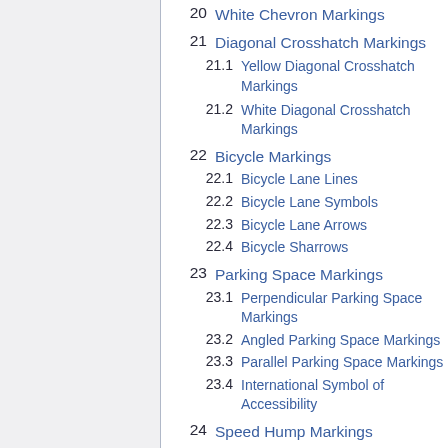20  White Chevron Markings
21  Diagonal Crosshatch Markings
21.1  Yellow Diagonal Crosshatch Markings
21.2  White Diagonal Crosshatch Markings
22  Bicycle Markings
22.1  Bicycle Lane Lines
22.2  Bicycle Lane Symbols
22.3  Bicycle Lane Arrows
22.4  Bicycle Sharrows
23  Parking Space Markings
23.1  Perpendicular Parking Space Markings
23.2  Angled Parking Space Markings
23.3  Parallel Parking Space Markings
23.4  International Symbol of Accessibility
24  Speed Hump Markings